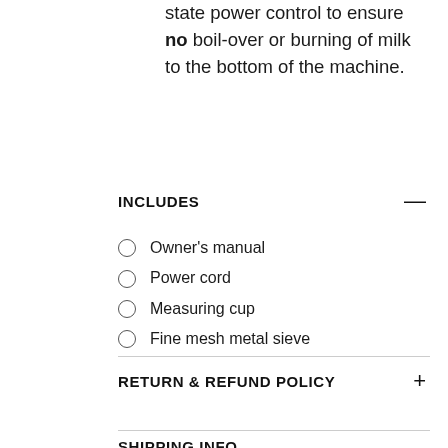state power control to ensure no boil-over or burning of milk to the bottom of the machine.
INCLUDES
Owner's manual
Power cord
Measuring cup
Fine mesh metal sieve
RETURN & REFUND POLICY
SHIPPING INFO